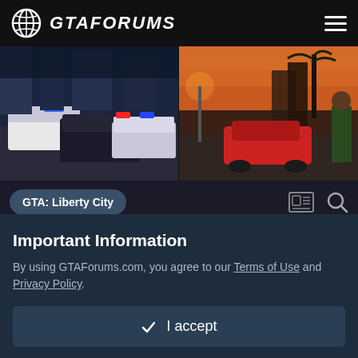GTAFORUMS
[Figure (screenshot): GTA game banner showing police cars chase scene on left and person near red car at sunset on right]
GTA: Liberty City
Important Information
By using GTAForums.com, you agree to our Terms of Use and Privacy Policy.
✓ I accept